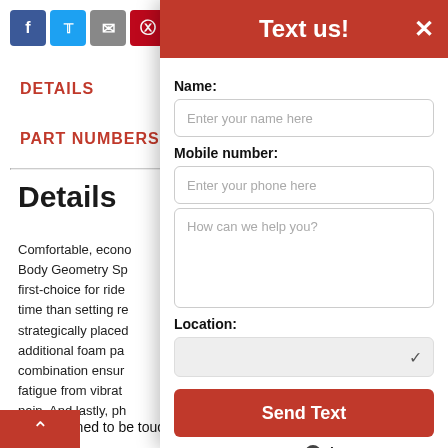[Figure (screenshot): Social media sharing icons: Facebook (blue), Twitter (light blue), Email (grey), Pinterest (red), Plus/more (grey)]
DETAILS
PART NUMBERS
Details
Comfortable, econo Body Geometry Sp first-choice for ride time than setting re strategically placed additional foam pa combination ensur fatigue from vibrat pain. And lastly, ph
Text us!
Name:
Enter your name here
Mobile number:
Enter your phone here
How can we help you?
Location:
Send Text
Powered by Ikeono
are designed to be touchscreen-compatible.